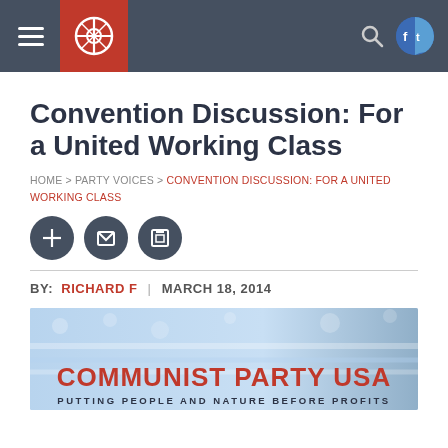Communist Party USA website header with navigation
Convention Discussion: For a United Working Class
HOME > PARTY VOICES > CONVENTION DISCUSSION: FOR A UNITED WORKING CLASS
BY: RICHARD F | MARCH 18, 2014
[Figure (illustration): Communist Party USA banner image with American flag background, text reading COMMUNIST PARTY USA PUTTING PEOPLE AND NATURE BEFORE PROFITS]